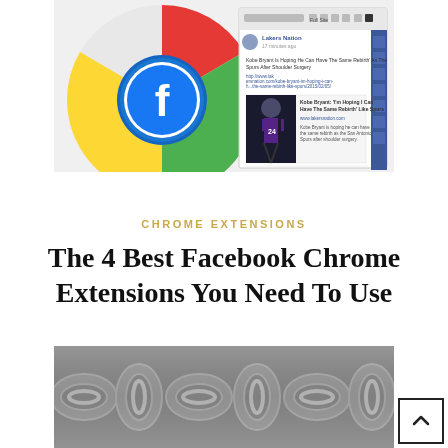[Figure (screenshot): Chrome browser logo with Facebook logo overlaid, showing a Facebook feed in a Chrome browser window with a Lakers Nation post about Kobe Bryant]
CHROME EXTENSIONS
The 4 Best Facebook Chrome Extensions You Need To Use
[Figure (photo): Close-up photograph of metallic chain links in silver/gray color]